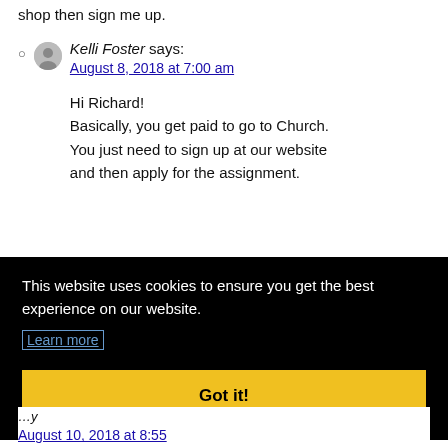shop then sign me up.
Kelli Foster says: August 8, 2018 at 7:00 am

Hi Richard!
Basically, you get paid to go to Church. You just need to sign up at our website and then apply for the assignment.
This website uses cookies to ensure you get the best experience on our website. Learn more Got it!
August 10, 2018 at 8:55